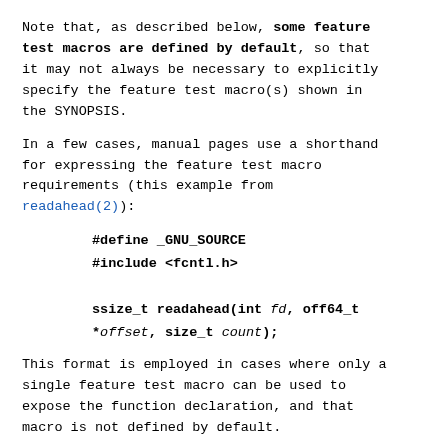Note that, as described below, some feature test macros are defined by default, so that it may not always be necessary to explicitly specify the feature test macro(s) shown in the SYNOPSIS.
In a few cases, manual pages use a shorthand for expressing the feature test macro requirements (this example from readahead(2)):
This format is employed in cases where only a single feature test macro can be used to expose the function declaration, and that macro is not defined by default.